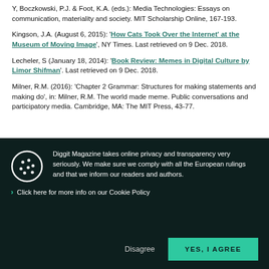Y, Boczkowski, P.J. & Foot, K.A. (eds.): Media Technologies: Essays on communication, materiality and society. MIT Scholarship Online, 167-193.
Kingson, J.A. (August 6, 2015): 'How Cats Took Over the Internet' at the Museum of Moving Image', NY Times. Last retrieved on 9 Dec. 2018.
Lecheler, S (January 18, 2014): 'Book Review: Memes in Digital Culture by Limor Shifman'. Last retrieved on 9 Dec. 2018.
Milner, R.M. (2016): 'Chapter 2 Grammar: Structures for making statements and making do', in: Milner, R.M. The world made meme. Public conversations and participatory media. Cambridge, MA: The MIT Press, 43-77.
Diggit Magazine takes online privacy and transparency very seriously. We make sure we comply with all the European rulings and that we inform our readers and authors.
Click here for more info on our Cookie Policy
Disagree   YES, I AGREE